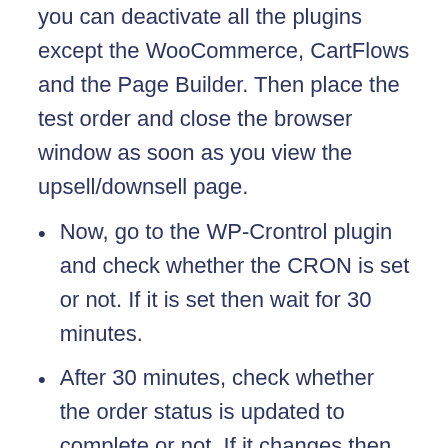you can deactivate all the plugins except the WooCommerce, CartFlows and the Page Builder. Then place the test order and close the browser window as soon as you view the upsell/downsell page.
Now, go to the WP-Crontrol plugin and check whether the CRON is set or not. If it is set then wait for 30 minutes.
After 30 minutes, check whether the order status is updated to complete or not. If it changes then there is a conflict with one of the plugins.
Second is that the CRON service is disabled:
The CRON job is a service available on the